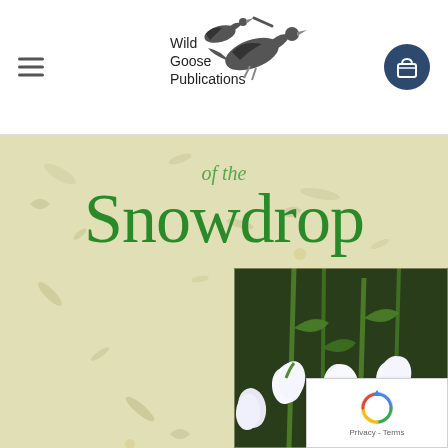[Figure (logo): Wild Goose Publications logo with flying geese illustration and text]
[Figure (illustration): Book cover showing 'of the Snowdrop' text in green italic and large green serif font on a pale yellow-green textured paper background with an inset photograph of white snowdrop flowers]
[Figure (photo): Close-up photograph of white snowdrop flowers (Galanthus) with green stems against a dark background, inset in lower right of book cover]